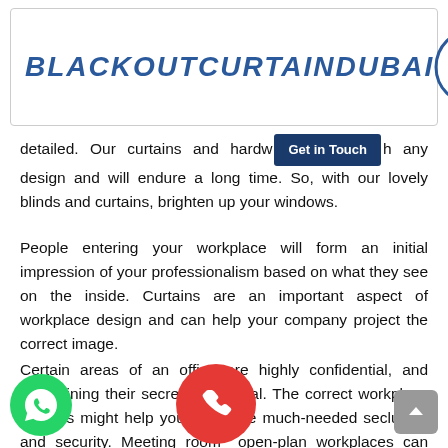BLACKOUTCURTAINDUBAI
detailed. Our curtains and hardware match any design and will endure a long time. So, with our lovely blinds and curtains, brighten up your windows.
People entering your workplace will form an initial impression of your professionalism based on what they see on the inside. Curtains are an important aspect of workplace design and can help your company project the correct image.
Certain areas of an office are highly confidential, and maintaining their secrecy is crucial. The correct workplace curtains might help you get some much-needed seclusion and security. Meeting rooms and open-plan workplaces can benefit from the use of curtains.